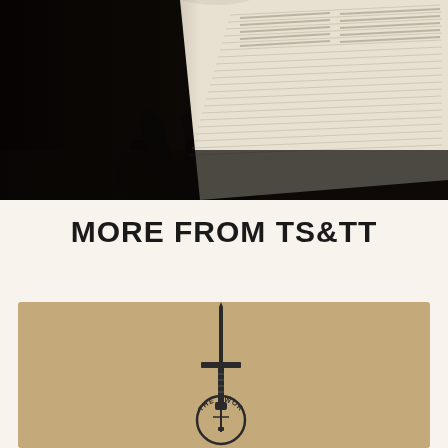[Figure (photo): Close-up photograph of a hand turning pages of an open Bible/book, seen from the side. The image is dark with dramatic lighting, showing the white pages of a book being held open by a silhouetted hand against a dark background.]
MORE FROM TS&TT
[Figure (logo): Logo on a tan/kraft paper background showing a sword with a circular emblem at the bottom containing the text 'THE SWORD' with a sword and what appears to a pen or torch symbol inside a circle.]